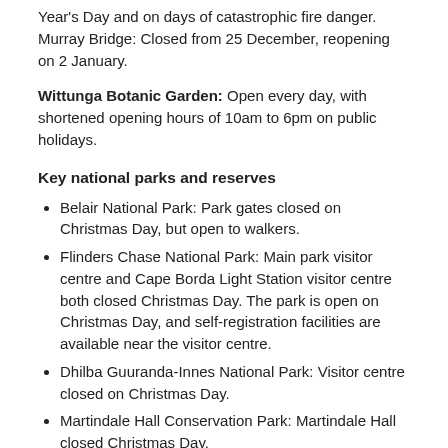Year's Day and on days of catastrophic fire danger. Murray Bridge: Closed from 25 December, reopening on 2 January.
Wittunga Botanic Garden: Open every day, with shortened opening hours of 10am to 6pm on public holidays.
Key national parks and reserves
Belair National Park: Park gates closed on Christmas Day, but open to walkers.
Flinders Chase National Park: Main park visitor centre and Cape Borda Light Station visitor centre both closed Christmas Day. The park is open on Christmas Day, and self-registration facilities are available near the visitor centre.
Dhilba Guuranda-Innes National Park: Visitor centre closed on Christmas Day.
Martindale Hall Conservation Park: Martindale Hall closed Christmas Day.
Morialta Conservation Park: Stradbroke Rd gate open (for access to nature playground) on Christmas Day. First Falls Rd entrance closed to traffic, but open to walkers.